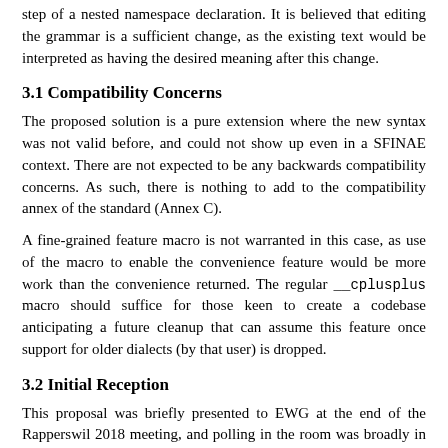step of a nested namespace declaration. It is believed that editing the grammar is a sufficient change, as the existing text would be interpreted as having the desired meaning after this change.
3.1 Compatibility Concerns
The proposed solution is a pure extension where the new syntax was not valid before, and could not show up even in a SFINAE context. There are not expected to be any backwards compatibility concerns. As such, there is nothing to add to the compatibility annex of the standard (Annex C).
A fine-grained feature macro is not warranted in this case, as use of the macro to enable the convenience feature would be more work than the convenience returned. The regular __cplusplus macro should suffice for those keen to create a codebase anticipating a future cleanup that can assume this feature once support for older dialects (by that user) is dropped.
3.2 Initial Reception
This proposal was briefly presented to EWG at the end of the Rapperswil 2018 meeting, and polling in the room was broadly in favor, although it would like to see it again, with a little feedback, before sending to Core: